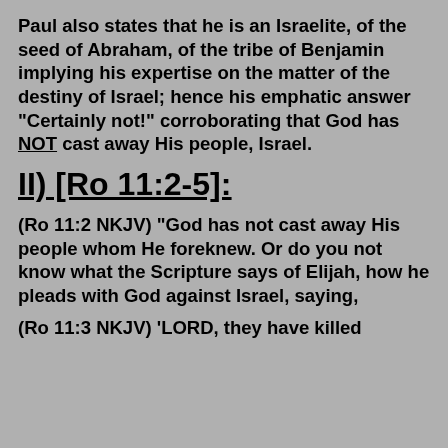Paul also states that he is an Israelite, of the seed of Abraham, of the tribe of Benjamin implying his expertise on the matter of the destiny of Israel; hence his emphatic answer "Certainly not!" corroborating that God has NOT cast away His people, Israel.
II) [Ro 11:2-5]:
(Ro 11:2 NKJV) "God has not cast away His people whom He foreknew. Or do you not know what the Scripture says of Elijah, how he pleads with God against Israel, saying,
(Ro 11:3 NKJV) 'LORD, they have killed